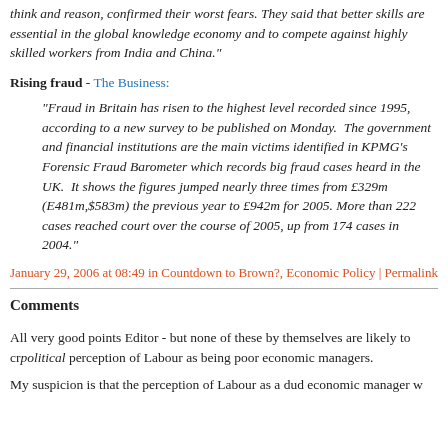think and reason, confirmed their worst fears. They said that better skills are essential in the global knowledge economy and to compete against highly skilled workers from India and China."
Rising fraud - The Business:
"Fraud in Britain has risen to the highest level recorded since 1995, according to a new survey to be published on Monday.  The government and financial institutions are the main victims identified in KPMG’s Forensic Fraud Barometer which records big fraud cases heard in the UK.  It shows the figures jumped nearly three times from £329m (E481m,$583m) the previous year to £942m for 2005. More than 222 cases reached court over the course of 2005, up from 174 cases in 2004."
January 29, 2006 at 08:49 in Countdown to Brown?, Economic Policy | Permalink
Comments
All very good points Editor - but none of these by themselves are likely to cr political perception of Labour as being poor economic managers.
My suspicion is that the perception of Labour as a dud economic manager w